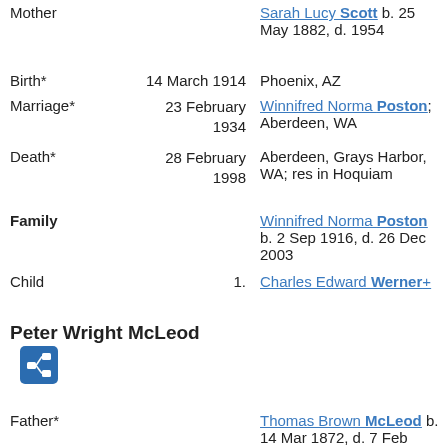Mother — Sarah Lucy Scott b. 25 May 1882, d. 1954
Birth* — 14 March 1914 — Phoenix, AZ
Marriage* — 23 February 1934 — Winnifred Norma Poston; Aberdeen, WA
Death* — 28 February 1998 — Aberdeen, Grays Harbor, WA; res in Hoquiam
Family — Winnifred Norma Poston b. 2 Sep 1916, d. 26 Dec 2003
Child — 1. — Charles Edward Werner+
Peter Wright McLeod
Father* — Thomas Brown McLeod b. 14 Mar 1872, d. 7 Feb 1934